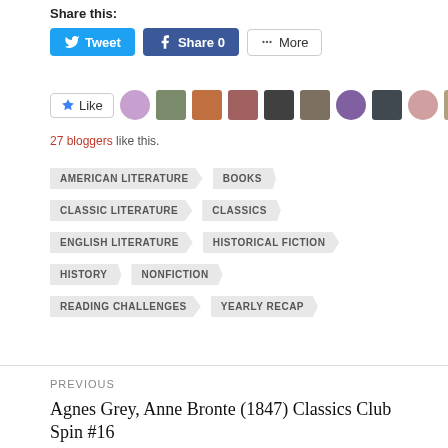Share this:
[Figure (screenshot): Social share buttons: Tweet, Share 0, More]
[Figure (screenshot): Like button and blogger avatars row]
27 bloggers like this.
AMERICAN LITERATURE
BOOKS
CLASSIC LITERATURE
CLASSICS
ENGLISH LITERATURE
HISTORICAL FICTION
HISTORY
NONFICTION
READING CHALLENGES
YEARLY RECAP
PREVIOUS
Agnes Grey, Anne Bronte (1847) Classics Club Spin #16